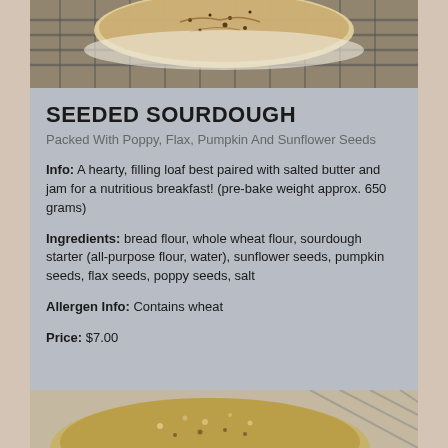[Figure (photo): Top portion of a seeded sourdough bread loaf on a wire cooling rack, showing the crusty textured top with seeds]
SEEDED SOURDOUGH
Packed With Poppy, Flax, Pumpkin And Sunflower Seeds
Info: A hearty, filling loaf best paired with salted butter and jam for a nutritious breakfast! (pre-bake weight approx. 650 grams)
Ingredients: bread flour, whole wheat flour, sourdough starter (all-purpose flour, water), sunflower seeds, pumpkin seeds, flax seeds, poppy seeds, salt
Allergen Info: Contains wheat
Price: $7.00
[Figure (photo): Bottom portion showing another seeded sourdough bread loaf on a wire rack, viewed from above with a white cloth underneath]